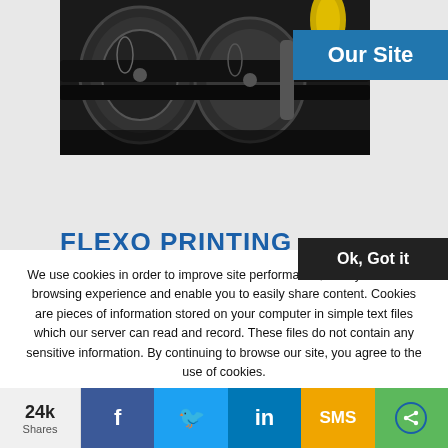[Figure (photo): Industrial flexo printing machine with rollers and ink cylinders]
Our Site
FLEXO PRINTING
Ok, Got it
We use cookies in order to improve site performance, offer you a better browsing experience and enable you to easily share content. Cookies are pieces of information stored on your computer in simple text files which our server can read and record. These files do not contain any sensitive information. By continuing to browse our site, you agree to the use of cookies.
24k Shares